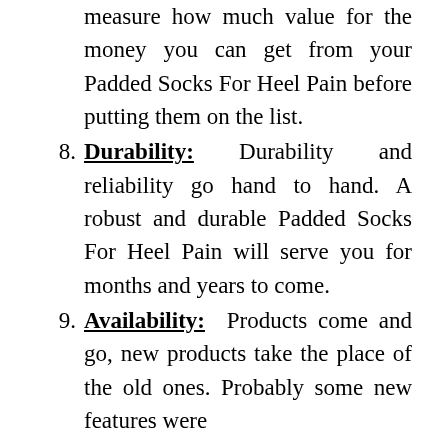measure how much value for the money you can get from your Padded Socks For Heel Pain before putting them on the list.
8. Durability: Durability and reliability go hand to hand. A robust and durable Padded Socks For Heel Pain will serve you for months and years to come.
9. Availability: Products come and go, new products take the place of the old ones. Probably some new features were